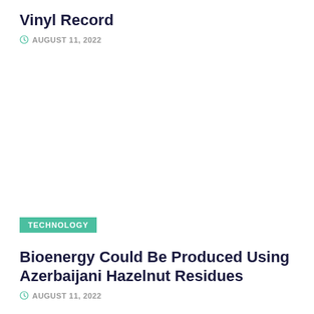Vinyl Record
AUGUST 11, 2022
TECHNOLOGY
Bioenergy Could Be Produced Using Azerbaijani Hazelnut Residues
AUGUST 11, 2022